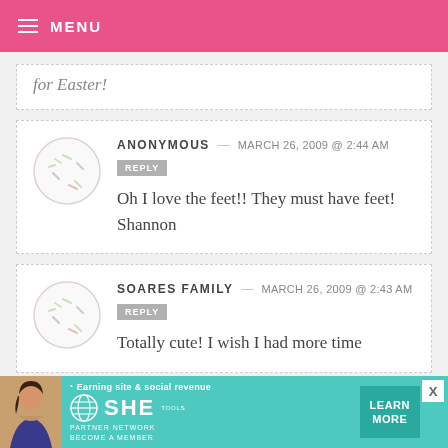MENU
for Easter!
ANONYMOUS — MARCH 26, 2009 @ 2:44 AM
REPLY
Oh I love the feet!! They must have feet! Shannon
SOARES FAMILY — MARCH 26, 2009 @ 2:43 AM
REPLY
Totally cute! I wish I had more time
[Figure (infographic): SHE Partner Network advertisement banner with teal background, woman photo, bullet point 'Earning site & social revenue', SHE logo, PARTNER NETWORK text, BECOME A MEMBER text, and LEARN MORE button]